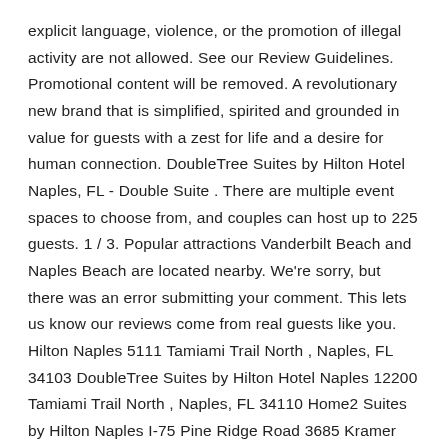explicit language, violence, or the promotion of illegal activity are not allowed. See our Review Guidelines. Promotional content will be removed. A revolutionary new brand that is simplified, spirited and grounded in value for guests with a zest for life and a desire for human connection. DoubleTree Suites by Hilton Hotel Naples, FL - Double Suite . There are multiple event spaces to choose from, and couples can host up to 225 guests. 1 / 3. Popular attractions Vanderbilt Beach and Naples Beach are located nearby. We're sorry, but there was an error submitting your comment. This lets us know our reviews come from real guests like you. Hilton Naples 5111 Tamiami Trail North , Naples, FL 34103 DoubleTree Suites by Hilton Hotel Naples 12200 Tamiami Trail North , Naples, FL 34110 Home2 Suites by Hilton Naples I-75 Pine Ridge Road 3685 Kramer Drive , Naples, FL 34109 From the right setting to the right menu, we can help with every detail of your event. Hilton Garden Inn Hotels in Naples FL. Learn about the Amenities and Services offered at the Hilton Naples, a Naples Florida Resort with business amenities and services, and close to Gulf Coast beaches